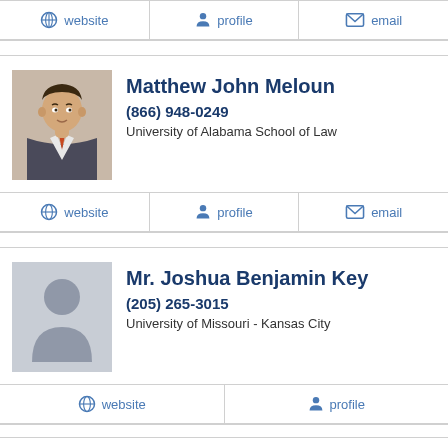website | profile | email (action bar for previous attorney)
Matthew John Meloun
(866) 948-0249
University of Alabama School of Law
website | profile | email
Mr. Joshua Benjamin Key
(205) 265-3015
University of Missouri - Kansas City
website | profile
Anthony Lee Cicio Jr